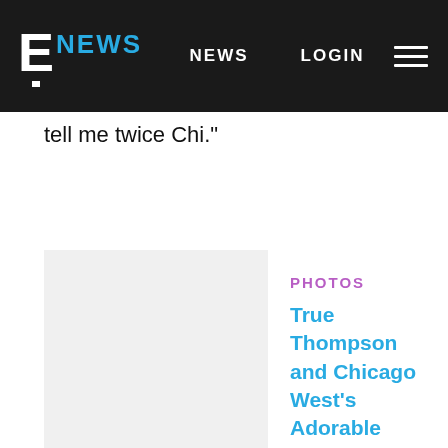E NEWS  NEWS  LOGIN
tell me twice Chi."
PHOTOS
True Thompson and Chicago West's Adorable Bahamas Trip
[Figure (photo): Thumbnail placeholder image (light gray rectangle)]